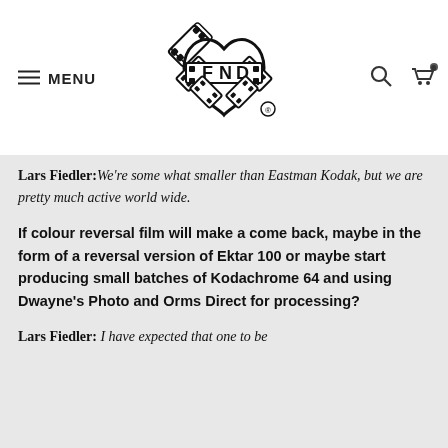[Figure (logo): FND film heart logo with film strip forming a heart shape around the letters F, N, D. Registered trademark symbol below.]
Lars Fiedler: We're some what smaller than Eastman Kodak, but we are pretty much active world wide.
If colour reversal film will make a come back, maybe in the form of a reversal version of Ektar 100 or maybe start producing small batches of Kodachrome 64 and using Dwayne's Photo and Orms Direct for processing?
Lars Fiedler: I have expected that one to be